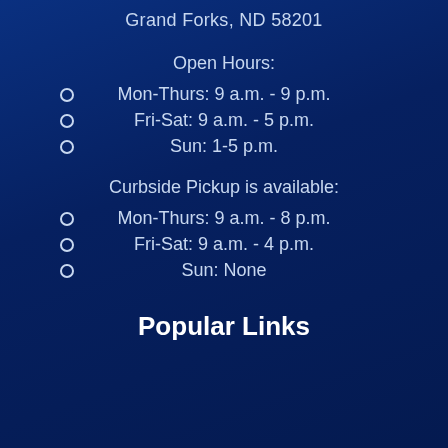Grand Forks, ND 58201
Open Hours:
Mon-Thurs: 9 a.m. - 9 p.m.
Fri-Sat: 9 a.m. - 5 p.m.
Sun: 1-5 p.m.
Curbside Pickup is available:
Mon-Thurs: 9 a.m. - 8 p.m.
Fri-Sat: 9 a.m. - 4 p.m.
Sun: None
Popular Links